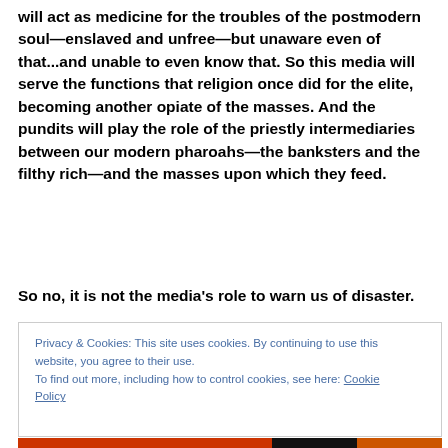will act as medicine for the troubles of the postmodern soul—enslaved and unfree—but unaware even of that...and unable to even know that. So this media will serve the functions that religion once did for the elite, becoming another opiate of the masses. And the pundits will play the role of the priestly intermediaries between our modern pharoahs—the banksters and the filthy rich—and the masses upon which they feed.
So no, it is not the media's role to warn us of disaster.
Privacy & Cookies: This site uses cookies. By continuing to use this website, you agree to their use.
To find out more, including how to control cookies, see here: Cookie Policy
Close and accept